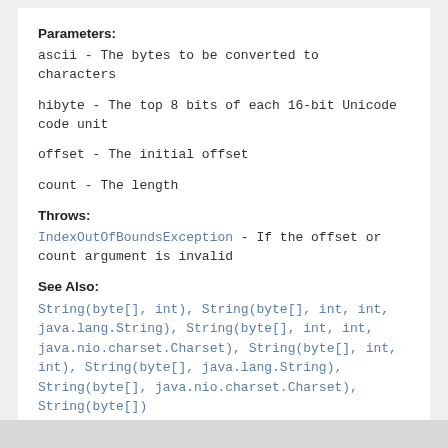Parameters:
ascii - The bytes to be converted to characters
hibyte - The top 8 bits of each 16-bit Unicode code unit
offset - The initial offset
count - The length
Throws:
IndexOutOfBoundsException - If the offset or count argument is invalid
See Also:
String(byte[], int), String(byte[], int, int, java.lang.String), String(byte[], int, int, java.nio.charset.Charset), String(byte[], int, int), String(byte[], java.lang.String), String(byte[], java.nio.charset.Charset), String(byte[])